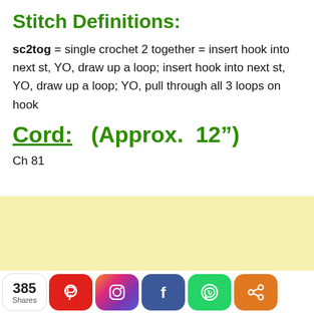Stitch Definitions:
sc2tog = single crochet 2 together = insert hook into next st, YO, draw up a loop; insert hook into next st, YO, draw up a loop; YO, pull through all 3 loops on hook
Cord:  (Approx.  12”)
Ch 81
[Figure (other): Yellow/cream colored advertisement banner area]
385 Shares